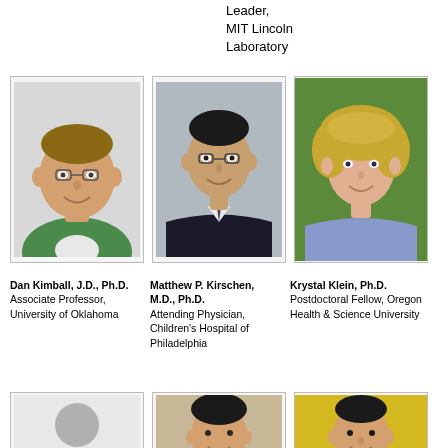Leader,
MIT Lincoln Laboratory
[Figure (photo): Headshot of Dan Kimball, middle-aged man with glasses wearing green shirt]
[Figure (photo): Headshot of Matthew P. Kirschen, man in dark suit with tie]
[Figure (photo): Headshot of Krystal Klein, woman with curly blonde hair in light blue jacket]
Dan Kimball, J.D., Ph.D.
Associate Professor, University of Oklahoma
Matthew P. Kirschen, M.D., Ph.D.
Attending Physician, Children's Hospital of Philadelphia
Krystal Klein, Ph.D.
Postdoctoral Fellow, Oregon Health & Science University
[Figure (photo): Placeholder silhouette icon]
[Figure (photo): Headshot of young man with dark hair, smiling]
[Figure (photo): Headshot of young man with dark hair on yellow background]